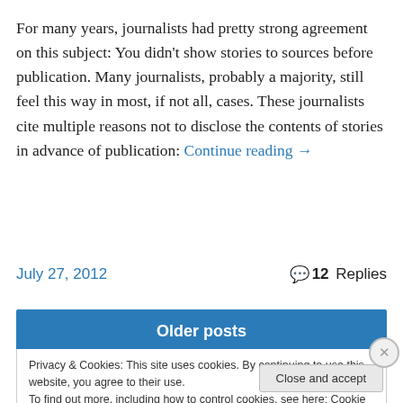For many years, journalists had pretty strong agreement on this subject: You didn't show stories to sources before publication. Many journalists, probably a majority, still feel this way in most, if not all, cases. These journalists cite multiple reasons not to disclose the contents of stories in advance of publication: Continue reading →
July 27, 2012   💬 12 Replies
Older posts
Privacy & Cookies: This site uses cookies. By continuing to use this website, you agree to their use. To find out more, including how to control cookies, see here: Cookie Policy